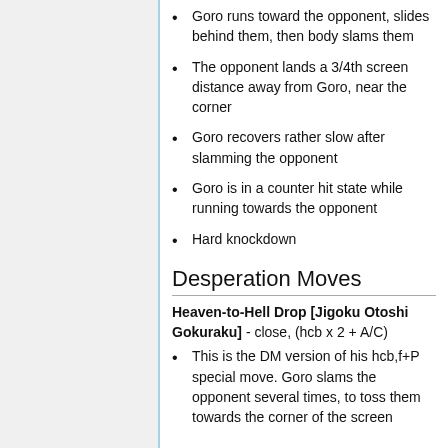Goro runs toward the opponent, slides behind them, then body slams them
The opponent lands a 3/4th screen distance away from Goro, near the corner
Goro recovers rather slow after slamming the opponent
Goro is in a counter hit state while running towards the opponent
Hard knockdown
Desperation Moves
Heaven-to-Hell Drop [Jigoku Otoshi Gokuraku] - close, (hcb x 2 + A/C)
This is the DM version of his hcb,f+P special move. Goro slams the opponent several times, to toss them towards the corner of the screen